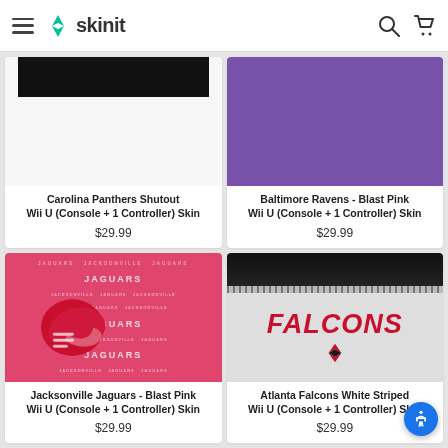skinit
[Figure (screenshot): Skinit e-commerce product listing page showing NFL-themed Wii U console skins in a 2x2 grid layout]
Carolina Panthers Shutout
Wii U (Console + 1 Controller) Skin
$29.99
Baltimore Ravens - Blast Pink
Wii U (Console + 1 Controller) Skin
$29.99
Jacksonville Jaguars - Blast Pink
Wii U (Console + 1 Controller) Skin
$29.99
Atlanta Falcons White Striped
Wii U (Console + 1 Controller) Skin
$29.99